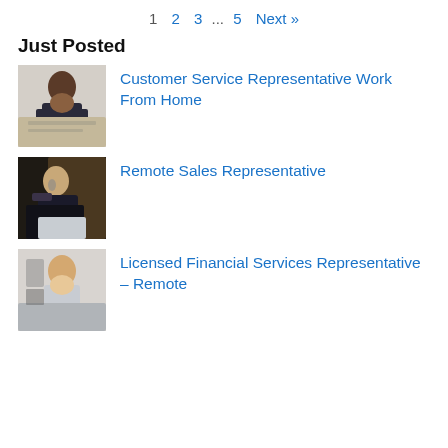1  2  3  ...  5  Next »
Just Posted
[Figure (photo): Woman leaning over a desk working from home]
Customer Service Representative Work From Home
[Figure (photo): Woman with glasses talking on phone at desk with laptop]
Remote Sales Representative
[Figure (photo): Smiling woman at desk with equipment]
Licensed Financial Services Representative – Remote